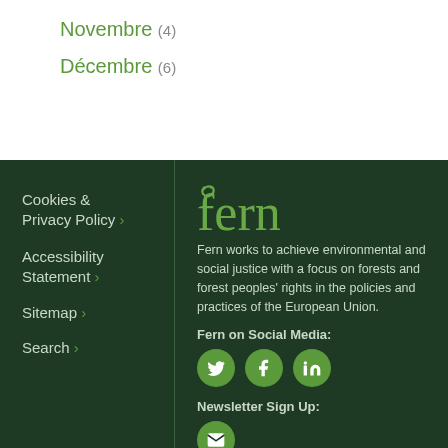Novembre (4)
Décembre (6)
Cookies & Privacy Policy ›
Accessibility Statement ›
Sitemap ›
Search ›
[Figure (logo): Fern organization logo in green stylized text]
Fern works to achieve environmental and social justice with a focus on forests and forest peoples' rights in the policies and practices of the European Union.
Fern on Social Media:
[Figure (infographic): Social media icons: Twitter, Facebook, LinkedIn in green circles]
Newsletter Sign Up:
[Figure (infographic): Newsletter envelope icon in green circle]